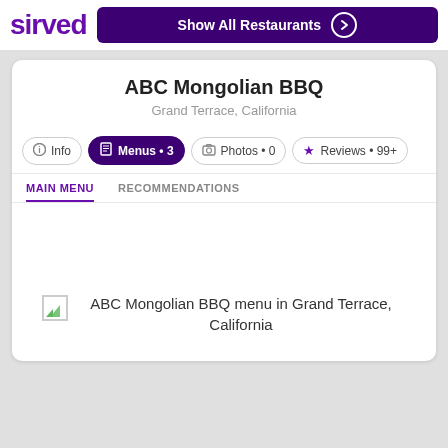sirved
ABC Mongolian BBQ
Grand Terrace, California
Info
Menus • 3
Photos • 0
Reviews • 99+
MAIN MENU
RECOMMENDATIONS
[Figure (illustration): Broken image icon placeholder for ABC Mongolian BBQ menu in Grand Terrace, California]
ABC Mongolian BBQ menu in Grand Terrace, California